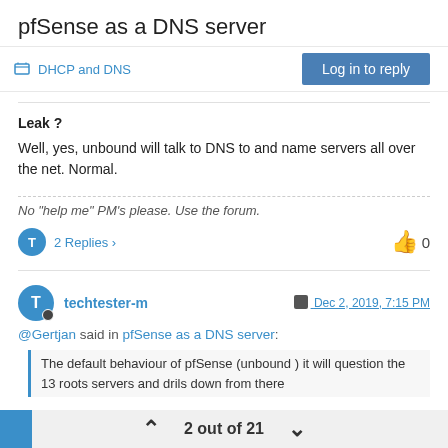pfSense as a DNS server
DHCP and DNS
Leak ?
Well, yes, unbound will talk to DNS to and name servers all over the net. Normal.
No "help me" PM's please. Use the forum.
2 Replies   0
techtester-m   Dec 2, 2019, 7:15 PM
@Gertjan said in pfSense as a DNS server:
The default behaviour of pfSense (unbound ) it will question the 13 roots servers and drils down from there
2 out of 21